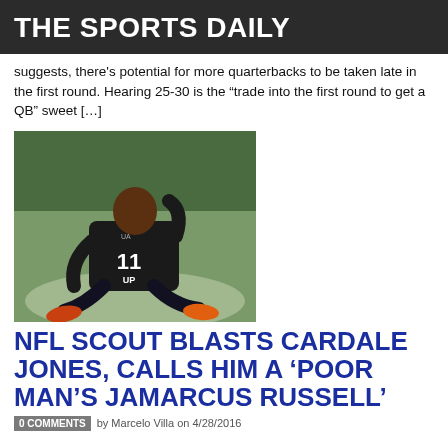THE SPORTS DAILY
suggests, there's potential for more quarterbacks to be taken late in the first round. Hearing 25-30 is the “trade into the first round to get a QB” sweet […]
[Figure (photo): NFL combine photo of Cardale Jones wearing jersey number 11, sitting on the ground in athletic gear with orange cleats]
NFL SCOUT BLASTS CARDALE JONES, CALLS HIM A ‘POOR MAN’S JAMARCUS RUSSELL’
0 COMMENTS  by Marcelo Villa on 4/28/2016